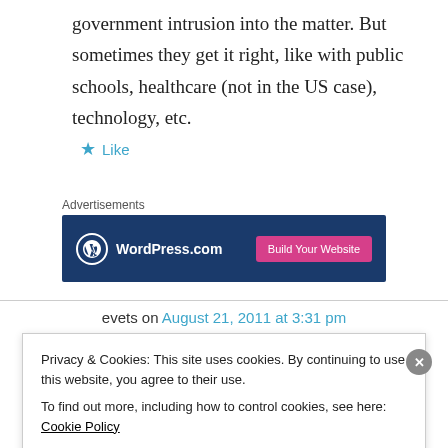government intrusion into the matter. But sometimes they get it right, like with public schools, healthcare (not in the US case), technology, etc.
★ Like
Advertisements
[Figure (other): WordPress.com advertisement banner with dark blue background, WordPress logo on left, and pink 'Build Your Website' button on right]
evets on August 21, 2011 at 3:31 pm
Privacy & Cookies: This site uses cookies. By continuing to use this website, you agree to their use.
To find out more, including how to control cookies, see here: Cookie Policy
Close and accept